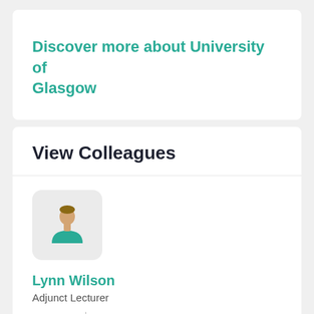Discover more about University of Glasgow
View Colleagues
[Figure (illustration): Generic person avatar icon with teal body and light skin tone head on a light grey rounded square background]
Lynn Wilson
Adjunct Lecturer
Phone  |  Email